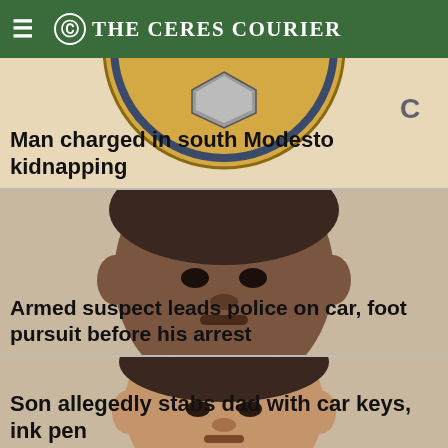The Ceres Courier
[Figure (photo): Stanislaus County seal (circular gold and dark blue emblem) partially visible in the background]
Man charged in south Modesto kidnapping
[Figure (photo): Mugshot photo of a man (close-up of face, dark skin, short hair)]
Armed suspect leads police on car, foot pursuit before his arrest
[Figure (photo): Mugshot photo of a second man (light skin, short hair)]
Son allegedly stabs dad with car keys, ink pen